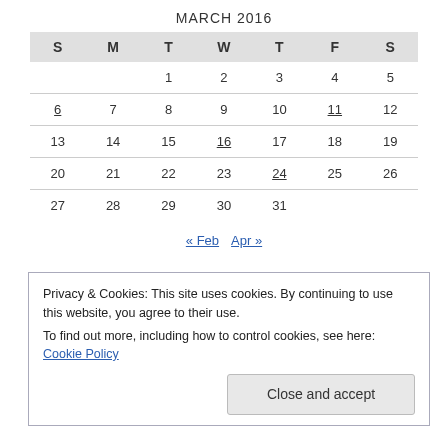MARCH 2016
| S | M | T | W | T | F | S |
| --- | --- | --- | --- | --- | --- | --- |
|  |  | 1 | 2 | 3 | 4 | 5 |
| 6 | 7 | 8 | 9 | 10 | 11 | 12 |
| 13 | 14 | 15 | 16 | 17 | 18 | 19 |
| 20 | 21 | 22 | 23 | 24 | 25 | 26 |
| 27 | 28 | 29 | 30 | 31 |  |  |
« Feb   Apr »
Privacy & Cookies: This site uses cookies. By continuing to use this website, you agree to their use.
To find out more, including how to control cookies, see here: Cookie Policy
Close and accept